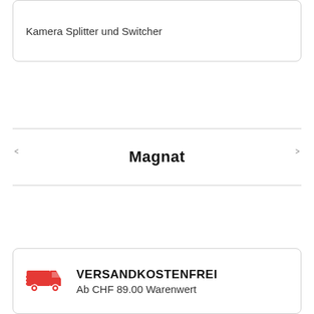Kamera Splitter und Switcher
Magnat
VERSANDKOSTENFREI
Ab CHF 89.00 Warenwert